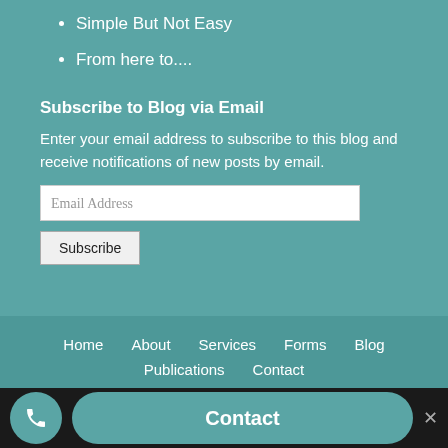Simple But Not Easy
From here to....
Subscribe to Blog via Email
Enter your email address to subscribe to this blog and receive notifications of new posts by email.
Email Address
Subscribe
Home   About   Services   Forms   Blog   Publications   Contact
Contact